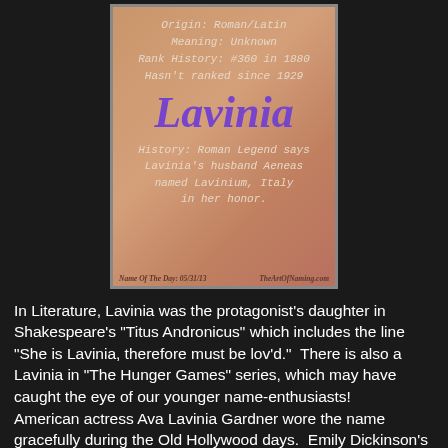[Figure (infographic): Name card for 'Lavinia' on a tan/rose textured background showing origin, meaning, rank history, the name in large purple italic font, and a history note about Roman legend]
In Literature, Lavinia was the protagonist's daughter in Shakespeare's "Titus Andronicus" which includes the line "She is Lavinia, therefore must be lov'd."  There is also a Lavinia in "The Hunger Games" series, which may have caught the eye of our younger name-enthusiasts!
American actress Ava Lavinia Gardner wore the name gracefully during the Old Hollywood days.  Emily Dickinson's